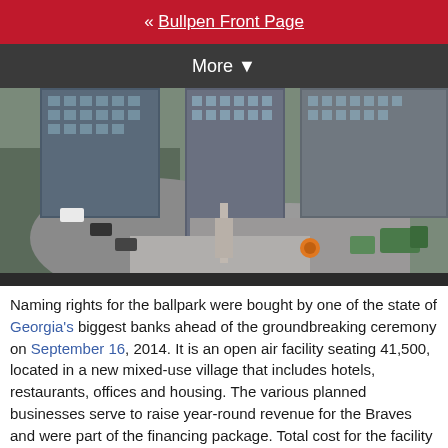« Bullpen Front Page
More ▼
[Figure (photo): Aerial drone photograph of a mixed-use development under construction, showing large modern glass-and-steel buildings, parking areas, roads, and construction equipment.]
Naming rights for the ballpark were bought by one of the state of Georgia's biggest banks ahead of the groundbreaking ceremony on September 16, 2014. It is an open air facility seating 41,500, located in a new mixed-use village that includes hotels, restaurants, offices and housing. The various planned businesses serve to raise year-round revenue for the Braves and were part of the financing package. Total cost for the facility was estimated at $1.2 billion, with $400 million coming from public coffers.